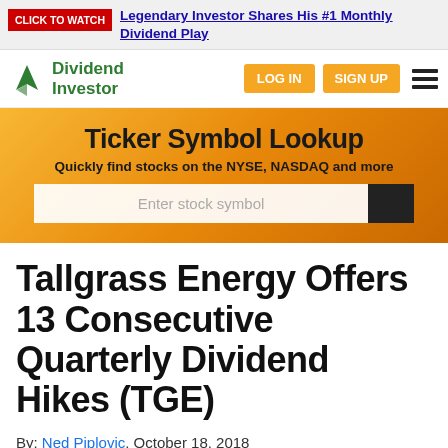CLICK TO WATCH Legendary Investor Shares His #1 Monthly Dividend Play
[Figure (logo): Dividend Investor logo with green mountain/triangle icon and green text 'Dividend Investor']
[Figure (screenshot): Ticker Symbol Lookup banner with orange/gold gradient background, subtitle 'Quickly find stocks on the NYSE, NASDAQ and more', and a stock symbol search input field]
Tallgrass Energy Offers 13 Consecutive Quarterly Dividend Hikes (TGE)
By: Ned Piplovic, October 18, 2018